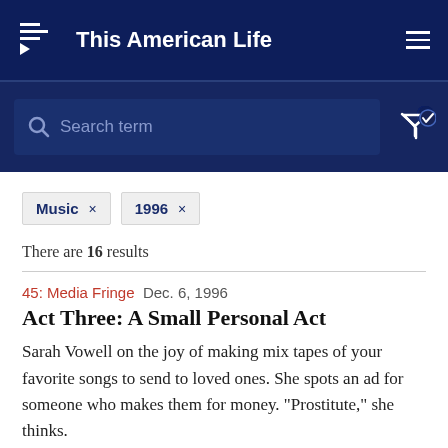This American Life
Search term
Music × 1996 ×
There are 16 results
45: Media Fringe Dec. 6, 1996
Act Three: A Small Personal Act
Sarah Vowell on the joy of making mix tapes of your favorite songs to send to loved ones. She spots an ad for someone who makes them for money. "Prostitute," she thinks.